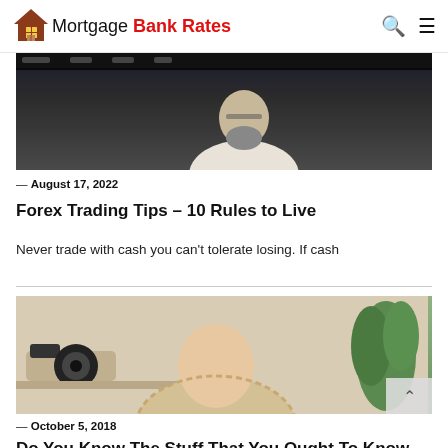Mortgage Bank Rates
[Figure (photo): Dark photo of a bearded man wearing glasses and a white shirt, sitting at a desk in front of a monitor]
— August 17, 2022
Forex Trading Tips – 10 Rules to Live
Never trade with cash you can't tolerate losing. If cash
[Figure (photo): Photo of a woman in a yellow knit sweater looking down, with a camera and plant visible in the background]
— October 5, 2018
Do You Know The Stuff That You Ought To Know About